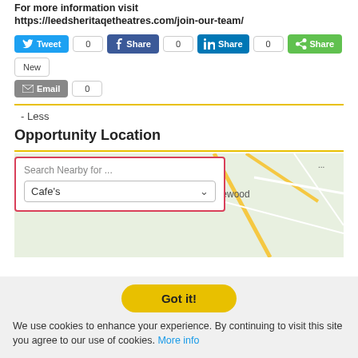For more information visit https://leedsheritagetheatres.com/join-our-team/
[Figure (screenshot): Social sharing buttons: Tweet (0), Facebook Share (0), LinkedIn Share (0), ShareThis Share (New), Email (0)]
- Less
Opportunity Location
[Figure (map): Map area with a search box showing 'Search Nearby for ...' and a dropdown with 'Cafe's' selected, alongside a partial map showing 'Harewood']
Got it!
We use cookies to enhance your experience. By continuing to visit this site you agree to our use of cookies. More info